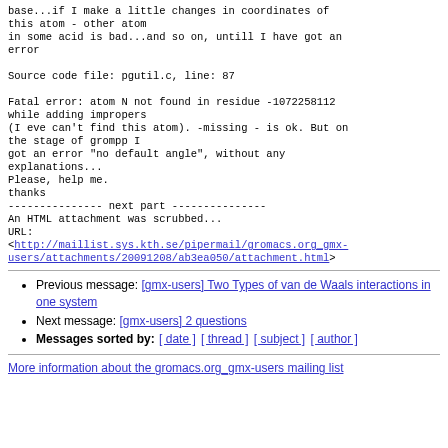base...if I make a little changes in coordinates of this atom - other atom
in some acid is bad...and so on, untill I have got an error

Source code file: pgutil.c, line: 87

Fatal error: atom N not found in residue -1072258112
while adding impropers
(I eve can't find this atom). -missing - is ok. But on the stage of grompp I
got an error "no default angle", without any explanations...
Please, help me.
thanks
--------------- next part ---------------
An HTML attachment was scrubbed...
URL:
<http://maillist.sys.kth.se/pipermail/gromacs.org_gmx-users/attachments/20091208/ab3ea050/attachment.html>
Previous message: [gmx-users] Two Types of van de Waals interactions in one system
Next message: [gmx-users] 2 questions
Messages sorted by: [ date ] [ thread ] [ subject ] [ author ]
More information about the gromacs.org_gmx-users mailing list